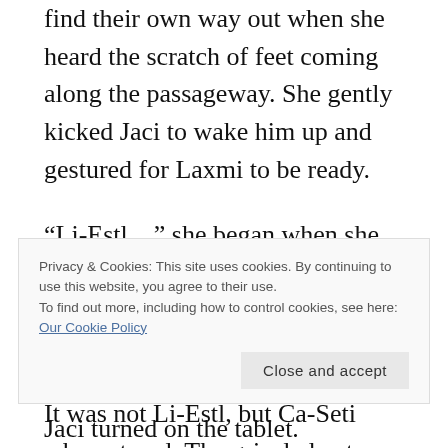find their own way out when she heard the scratch of feet coming along the passageway. She gently kicked Jaci to wake him up and gestured for Laxmi to be ready.
“Li-Estl…” she began when she saw the avian body come around the corner, then stopped in surprise.
It was not Li-Estl, but Ca-Seti who entered. The grizzled veteran limped into the chamber, a bloody bandage around one leg and favoring a wing, burned
Privacy & Cookies: This site uses cookies. By continuing to use this website, you agree to their use.
To find out more, including how to control cookies, see here: Our Cookie Policy
Jaci turned on the tablet.